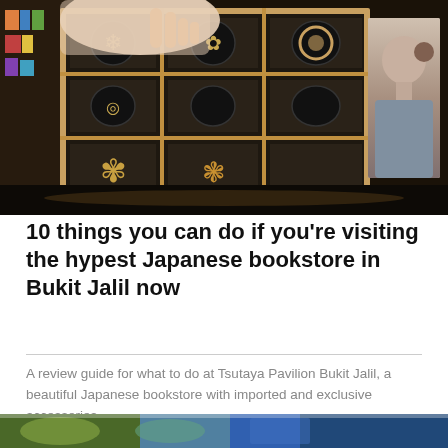[Figure (photo): Photo of a wooden grid display case showing jewelry hair accessories (circular ornaments with floral/patterned designs) on dark fabric, with a hand reaching to pick one up, and a portrait photo of a woman wearing a hair accessory visible on the right side. Store retail setting.]
10 things you can do if you're visiting the hypest Japanese bookstore in Bukit Jalil now
A review guide for what to do at Tsutaya Pavilion Bukit Jalil, a beautiful Japanese bookstore with imported and exclusive accessories.
[Figure (photo): Partial photo strip at the bottom of the page showing food or products, cropped.]